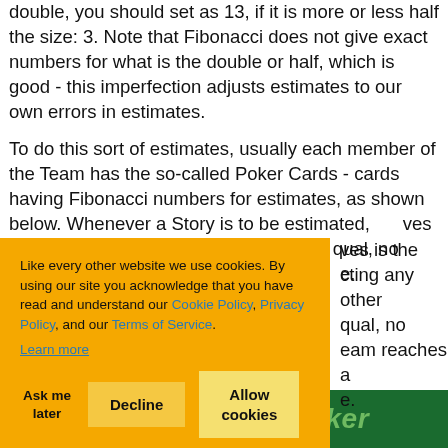double, you should set as 13, if it is more or less half the size: 3. Note that Fibonacci does not give exact numbers for what is the double or half, which is good - this imperfection adjusts estimates to our own errors in estimates.
To do this sort of estimates, usually each member of the Team has the so-called Poker Cards - cards having Fibonacci numbers for estimates, as shown below. Whenever a Story is to be estimated, [ves is the] [cting any other] [qual, no] [eam reaches a] [e.]
Like every other website we use cookies. By using our site you acknowledge that you have read and understand our Cookie Policy, Privacy Policy, and our Terms of Service. Learn more
[Figure (screenshot): Cookie consent banner with orange background, containing text about cookie policy with links, and three buttons: Ask me later, Decline, Allow cookies]
Agile Planning Poker